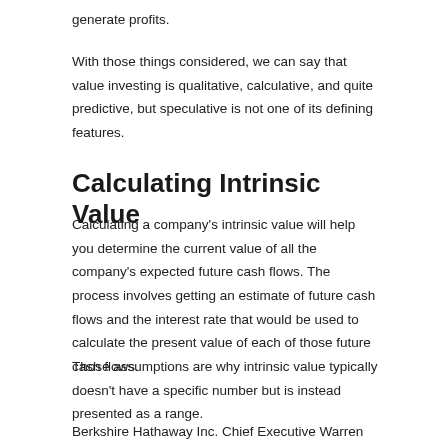generate profits.
With those things considered, we can say that value investing is qualitative, calculative, and quite predictive, but speculative is not one of its defining features.
Calculating Intrinsic Value
Calculating a company's intrinsic value will help you determine the current value of all the company's expected future cash flows. The process involves getting an estimate of future cash flows and the interest rate that would be used to calculate the present value of each of those future cash flows.
Those assumptions are why intrinsic value typically doesn't have a specific number but is instead presented as a range.
Berkshire Hathaway Inc. Chief Executive Warren Buffett has